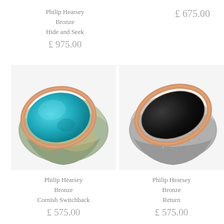Philip Hearsey
Bronze
Hide and Seek
£ 975.00
£ 675.00
[Figure (photo): Philip Hearsey bronze ring 'Cornish Switchback' — a chunky stone-shaped ring with rose gold oval frame and turquoise/teal enamel inset on a green-bronze textured body]
[Figure (photo): Philip Hearsey bronze ring 'Return' — a chunky stone-shaped ring with rose gold oval frame revealing a dark black interior on a silver/grey speckled textured body]
Philip Hearsey
Bronze
Cornish Switchback
£ 575.00
Philip Hearsey
Bronze
Return
£ 575.00